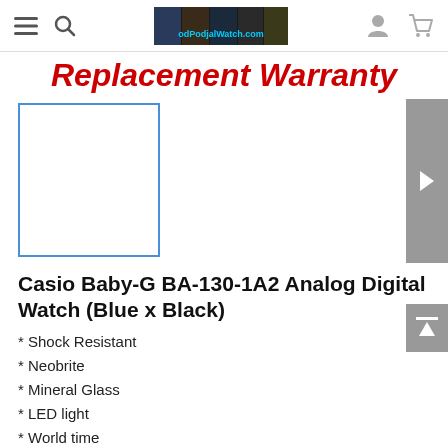Navigation bar with hamburger menu, search icon, logo (odPodjalWatch.com), user icon, cart icon
Replacement Warranty
[Figure (photo): Product image placeholder — blue-bordered white square representing product photo area, with a gray arrow/scroll panel on the right]
Casio Baby-G BA-130-1A2 Analog Digital Watch (Blue x Black)
* Shock Resistant
* Neobrite
* Mineral Glass
* LED light
* World time